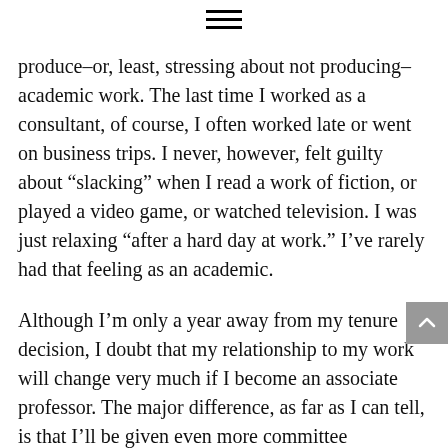[Figure (other): Hamburger menu icon (three horizontal lines)]
produce–or, least, stressing about not producing–academic work. The last time I worked as a consultant, of course, I often worked late or went on business trips. I never, however, felt guilty about “slacking” when I read a work of fiction, or played a video game, or watched television. I was just relaxing “after a hard day at work.” I’ve rarely had that feeling as an academic.
Although I’m only a year away from my tenure decision, I doubt that my relationship to my work will change very much if I become an associate professor. The major difference, as far as I can tell, is that I’ll be given even more committee assignments. Which means less time to work and prepare for